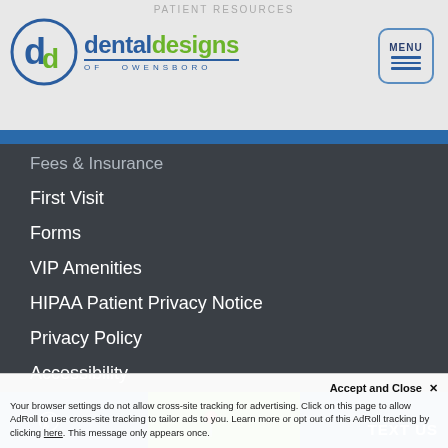PATIENT RESOURCES
[Figure (logo): Dental Designs of Owensboro logo with circular 'dd' monogram in blue and green, company name in blue with stylized 'designs' text, and MENU button with hamburger icon]
Fees & Insurance
First Visit
Forms
VIP Amenities
HIPAA Patient Privacy Notice
Privacy Policy
Accessibility
Dental Designs of Owensboro © 2022 | Propelled by DentalCMO 🐟
Your browser settings do not allow cross-site tracking for advertising. Click on this page to allow AdRoll to use cross-site tracking to tailor ads to you. Learn more or opt out of this AdRoll tracking by clicking here. This message only appears once.